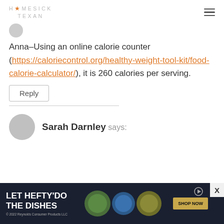HOMESICK TEXAN (logo)
Anna–Using an online calorie counter (https://caloriecontrol.org/healthy-weight-tool-kit/food-calorie-calculator/), it is 260 calories per serving.
Reply
Sarah Darnley says:
[Figure (illustration): Advertisement banner: LET HEFTY DO THE DISHES - Reynolds Consumer Products LLC 2022, with product images and SHOP NOW button]